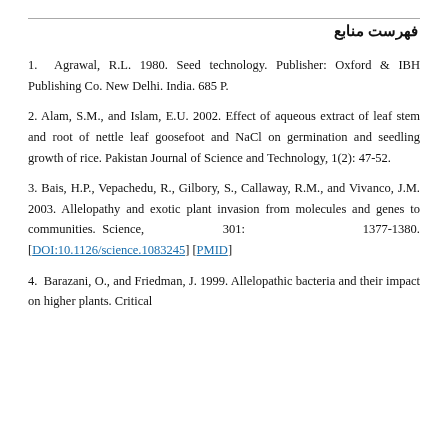فهرست منابع
1. Agrawal, R.L. 1980. Seed technology. Publisher: Oxford & IBH Publishing Co. New Delhi. India. 685 P.
2. Alam, S.M., and Islam, E.U. 2002. Effect of aqueous extract of leaf stem and root of nettle leaf goosefoot and NaCl on germination and seedling growth of rice. Pakistan Journal of Science and Technology, 1(2): 47-52.
3. Bais, H.P., Vepachedu, R., Gilbory, S., Callaway, R.M., and Vivanco, J.M. 2003. Allelopathy and exotic plant invasion from molecules and genes to communities. Science, 301: 1377-1380. [DOI:10.1126/science.1083245] [PMID]
4. Barazani, O., and Friedman, J. 1999. Allelopathic bacteria and their impact on higher plants. Critical